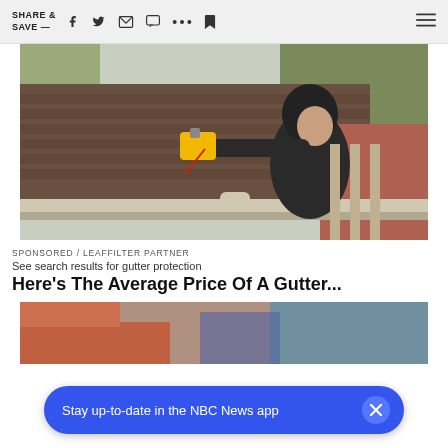SHARE & SAVE —
[Figure (photo): Worker in black hoodie installing or cleaning gutters on a residential rooftop, holding a yellow power tool, with brown shingles and trees in background]
SPONSORED / LEAFFILTER PARTNER
See search results for gutter protection
Here's The Average Price Of A Gutter...
[Figure (photo): Partial view of second advertisement image showing gutter/roofing work]
Stay up-to-date in the NBC News app